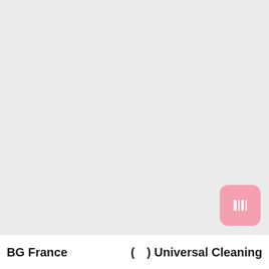[Figure (other): Large light grey blank/empty area occupying the top portion of the page, with a pink rounded square button in the bottom-right corner containing a white icon resembling a barcode or grid symbol]
BG France 　　　　　(　) Universal Cleaning